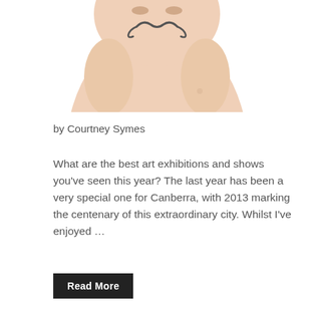[Figure (photo): Close-up photo of a baby's torso and face from above, with a drawn-on handlebar mustache design]
by Courtney Symes
What are the best art exhibitions and shows you've seen this year? The last year has been a very special one for Canberra, with 2013 marking the centenary of this extraordinary city. Whilst I've enjoyed …
Read More
Uncategorized
ACTease November 2013
November 1, 2013 | troublemag
[Figure (photo): Partial view of another article's photo at the bottom of the page]